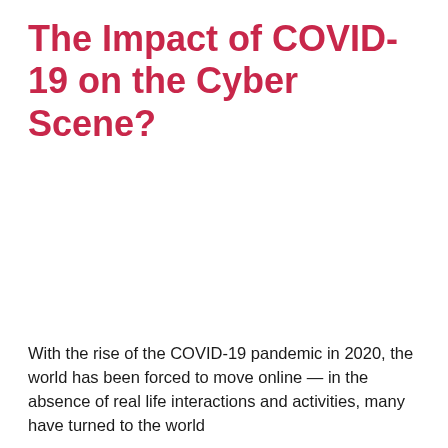The Impact of COVID-19 on the Cyber Scene?
With the rise of the COVID-19 pandemic in 2020, the world has been forced to move online — in the absence of real life interactions and activities, many have turned to the world...